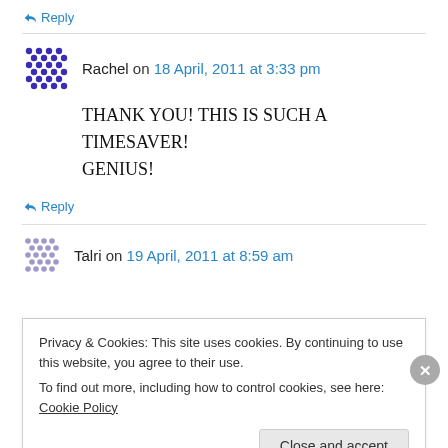↪ Reply
Rachel on 18 April, 2011 at 3:33 pm
THANK YOU! THIS IS SUCH A TIMESAVER! GENIUS!
↪ Reply
Talri on 19 April, 2011 at 8:59 am
Privacy & Cookies: This site uses cookies. By continuing to use this website, you agree to their use.
To find out more, including how to control cookies, see here: Cookie Policy
Close and accept